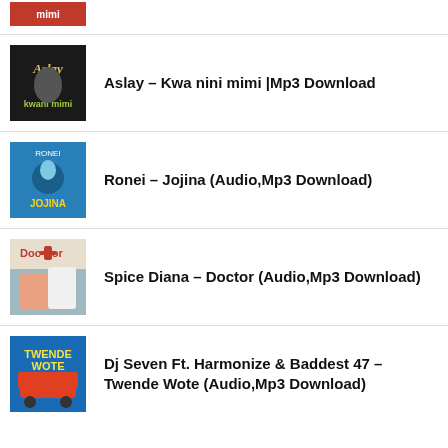(partial top item - red album art)
Aslay – Kwa nini mimi |Mp3 Download
Ronei – Jojina (Audio,Mp3 Download)
Spice Diana – Doctor (Audio,Mp3 Download)
Dj Seven Ft. Harmonize & Baddest 47 – Twende Wote (Audio,Mp3 Download)